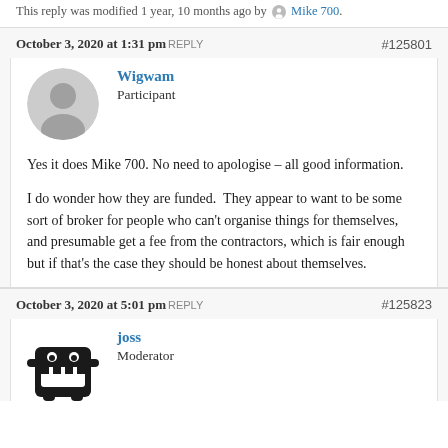This reply was modified 1 year, 10 months ago by Mike 700.
October 3, 2020 at 1:31 pm REPLY #125801
Wigwam
Participant
Yes it does Mike 700. No need to apologise – all good information.

I do wonder how they are funded. They appear to want to be some sort of broker for people who can't organise things for themselves, and presumable get a fee from the contractors, which is fair enough but if that's the case they should be honest about themselves.
October 3, 2020 at 5:01 pm REPLY #125823
joss
Moderator